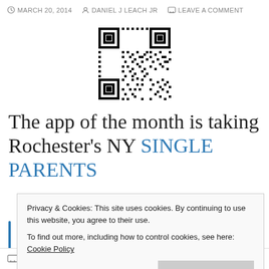MARCH 20, 2014 · DANIEL J LEACH JR · LEAVE A COMMENT
[Figure (other): QR code image, black and white square barcode pattern]
The app of the month is taking Rochester's NY SINGLE PARENTS
Privacy & Cookies: This site uses cookies. By continuing to use this website, you agree to their use.
To find out more, including how to control cookies, see here: Cookie Policy
Close and accept
Follow